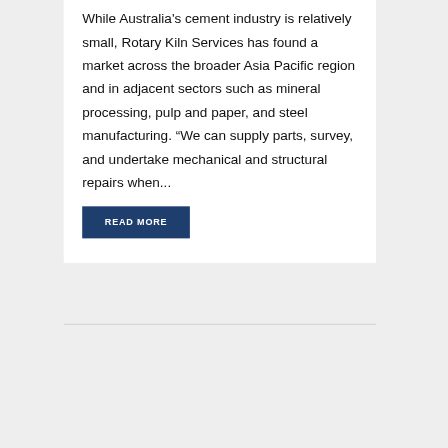While Australia's cement industry is relatively small, Rotary Kiln Services has found a market across the broader Asia Pacific region and in adjacent sectors such as mineral processing, pulp and paper, and steel manufacturing. “We can supply parts, survey, and undertake mechanical and structural repairs when...
READ MORE